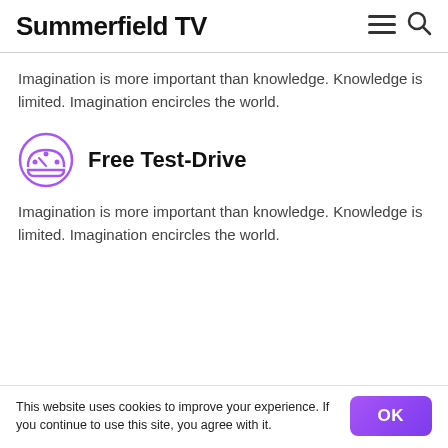Summerfield TV
Imagination is more important than knowledge. Knowledge is limited. Imagination encircles the world.
Free Test-Drive
Imagination is more important than knowledge. Knowledge is limited. Imagination encircles the world.
This website uses cookies to improve your experience. If you continue to use this site, you agree with it.